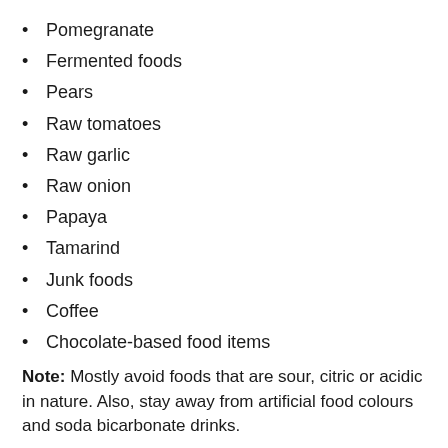Pomegranate
Fermented foods
Pears
Raw tomatoes
Raw garlic
Raw onion
Papaya
Tamarind
Junk foods
Coffee
Chocolate-based food items
Note: Mostly avoid foods that are sour, citric or acidic in nature. Also, stay away from artificial food colours and soda bicarbonate drinks.
Some Important Tips